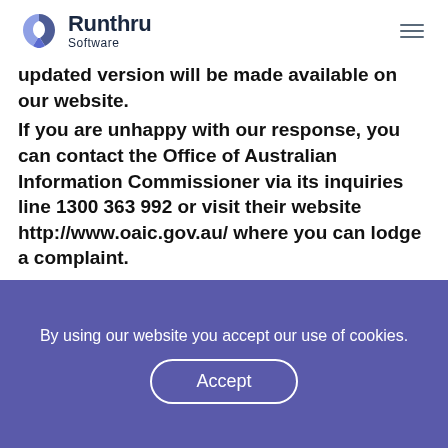Runthru Software
updated version will be made available on our website.
If you are unhappy with our response, you can contact the Office of Australian Information Commissioner via its inquiries line 1300 363 992 or visit their website http://www.oaic.gov.au/ where you can lodge a complaint.
View Next:
Cookie Policy
By using our website you accept our use of cookies.